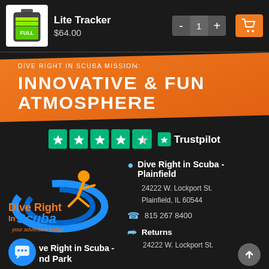[Figure (screenshot): Product listing top bar showing Lite Tracker battery product image, price $64.00, quantity controls (-, 1, +), and orange shopping cart button]
[Figure (infographic): Orange diagonal banner with text: DIVE RIGHT IN SCUBA MISSION: INNOVATIVE & FUN ATMOSPHERE]
[Figure (infographic): Trustpilot rating showing 4.5 green stars and Trustpilot logo on dark background]
[Figure (logo): Dive Right in Scuba logo with diver figure and blue wave design]
Dive Right in Scuba - Plainfield
24222 W. Lockport St.
Plainfield, IL 60544
815 267 8400
Returns
24222 W. Lockport St.
ve Right in Scuba - nd Park
16325 South 104th A...